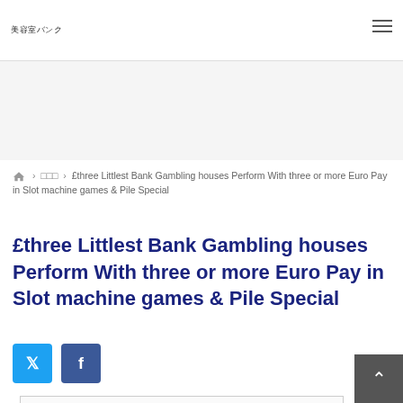美容室バンク
£three Littlest Bank Gambling houses Perform With three or more Euro Pay in Slot machine games & Pile Special
£three Littlest Bank Gambling houses Perform With three or more Euro Pay in Slot machine games & Pile Special
[Figure (other): Twitter and Facebook social share buttons]
Content